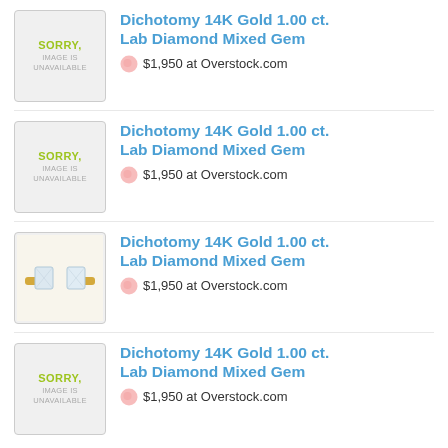Dichotomy 14K Gold 1.00 ct. Lab Diamond Mixed Gem — $1,950 at Overstock.com
Dichotomy 14K Gold 1.00 ct. Lab Diamond Mixed Gem — $1,950 at Overstock.com
Dichotomy 14K Gold 1.00 ct. Lab Diamond Mixed Gem — $1,950 at Overstock.com
Dichotomy 14K Gold 1.00 ct. Lab Diamond Mixed Gem — $1,950 at Overstock.com